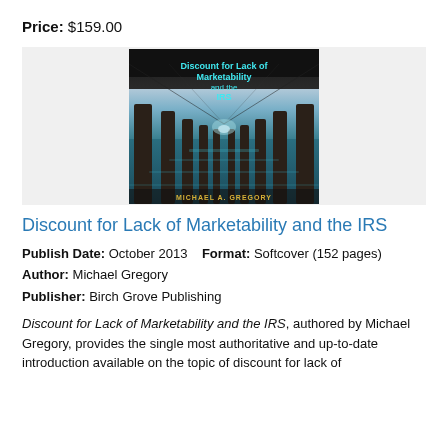Price: $159.00
[Figure (photo): Book cover of 'Discount for Lack of Marketability and the IRS' by Michael A. Gregory, featuring a perspective view under a pier with teal water and cyan/yellow title text.]
Discount for Lack of Marketability and the IRS
Publish Date: October 2013    Format: Softcover (152 pages)
Author: Michael Gregory
Publisher: Birch Grove Publishing
Discount for Lack of Marketability and the IRS, authored by Michael Gregory, provides the single most authoritative and up-to-date introduction available on the topic of discount for lack of